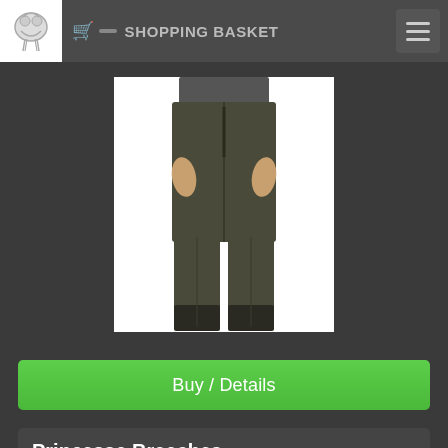SHOPPING BASKET
[Figure (photo): Product photo of dark olive/brown riding breeches (Princesse Breeches) shown on a model from waist to ankle against white background]
Buy / Details
Princesse Breeches
£132.00 (176.54 USD) 3 in stock
Princesse Breeches, the perfect breeches for all horse riding disciplines. As with all Pikeur breeches you'll love the quality and cut. Designed not to rub or chafe your lower leg when